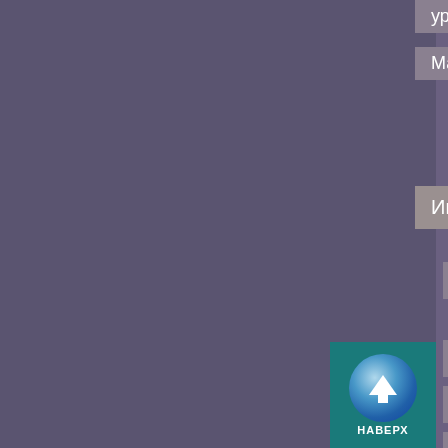уроках математики
Математические каверзы
Информатика
Занимательное программирование. Python
К урокам информатики
Java Script для школьников
Программирование в примерах и задачах
Программирование на языке Python
Экономика
История денег
Вопросы об экономике и
[Figure (screenshot): Up/back navigation button with arrow icon and 'НАВЕРХ' label on teal background]